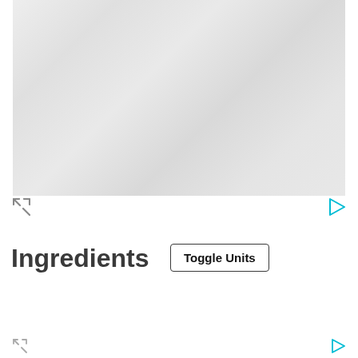[Figure (photo): Food or recipe photo placeholder, light gray background with subtle texture]
Ingredients
Toggle Units
[Figure (other): Light blue horizontal progress/loading bar]